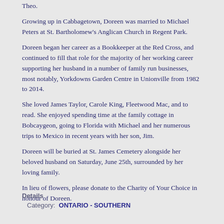Theo.
Growing up in Cabbagetown, Doreen was married to Michael Peters at St. Bartholomew's Anglican Church in Regent Park.
Doreen began her career as a Bookkeeper at the Red Cross, and continued to fill that role for the majority of her working career supporting her husband in a number of family run businesses, most notably, Yorkdowns Garden Centre in Unionville from 1982 to 2014.
She loved James Taylor, Carole King, Fleetwood Mac, and to read. She enjoyed spending time at the family cottage in Bobcaygeon, going to Florida with Michael and her numerous trips to Mexico in recent years with her son, Jim.
Doreen will be buried at St. James Cemetery alongside her beloved husband on Saturday, June 25th, surrounded by her loving family.
In lieu of flowers, please donate to the Charity of Your Choice in honour of Doreen.
Details
Category: ONTARIO - SOUTHERN